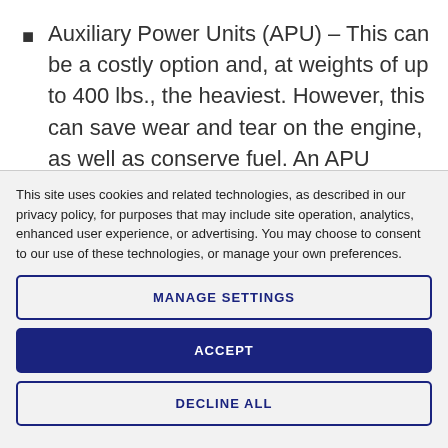Auxiliary Power Units (APU) – This can be a costly option and, at weights of up to 400 lbs., the heaviest. However, this can save wear and tear on the engine, as well as conserve fuel. An APU provides electric ports so drivers can use small in-bunk devices (microwaves, TV, laptops, etc.). And it allows the heating and cooling of both the bunk and the engine without operating the big engine.
This site uses cookies and related technologies, as described in our privacy policy, for purposes that may include site operation, analytics, enhanced user experience, or advertising. You may choose to consent to our use of these technologies, or manage your own preferences.
MANAGE SETTINGS
ACCEPT
DECLINE ALL